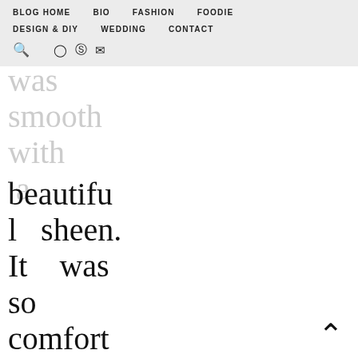BLOG HOME   BIO   FASHION   FOODIE   DESIGN & DIY   WEDDING   CONTACT
was smooth with a beautiful sheen. It was so comfortable, I was skipping and spinning around my
[Figure (other): Back to top arrow icon (chevron up)]